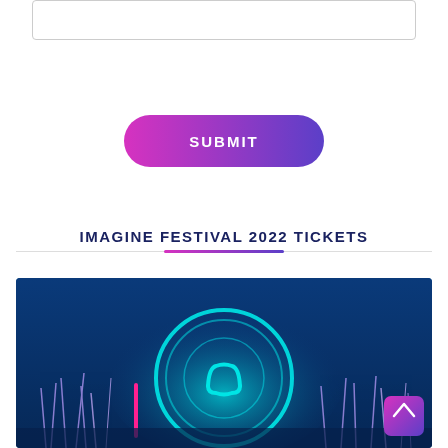[Figure (screenshot): Input text box (partially cropped at top)]
[Figure (screenshot): Submit button with gradient from pink/magenta to purple]
[Figure (screenshot): Search bar with placeholder text SEARCH and search icon]
IMAGINE FESTIVAL 2022 TICKETS
[Figure (photo): Festival promotional image with blue/teal glowing circular portal, neon grass silhouettes, and festival logo. Scroll-up button in bottom right corner.]